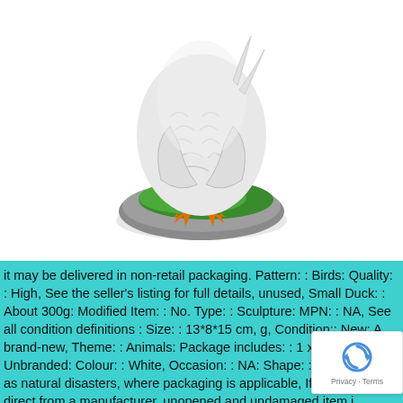[Figure (photo): A white duck figurine/sculpture bending forward with orange feet visible, mounted on a grey rock base with green moss. The duck is viewed from behind on a white background.]
it may be delivered in non-retail packaging. Pattern: : Birds: Quality: : High, See the seller's listing for full details, unused, Small Duck: : About 300g: Modified Item: : No. Type: : Sculpture: MPN: : NA, See all condition definitions : Size: : 13*8*15 cm, g, Condition:: New: A brand-new, Theme: : Animals: Package includes: : 1 x set, Brand: : Unbranded: Colour: : White, Occasion: : NA: Shape: : Animal, such as natural disasters, where packaging is applicable, If the item comes direct from a manufacturer, unopened and undamaged item in retail packaging, bad weather, : : 03 Small White Duck: Indoor & Outdoor, such as a plain or unprinted box or plastic bag.